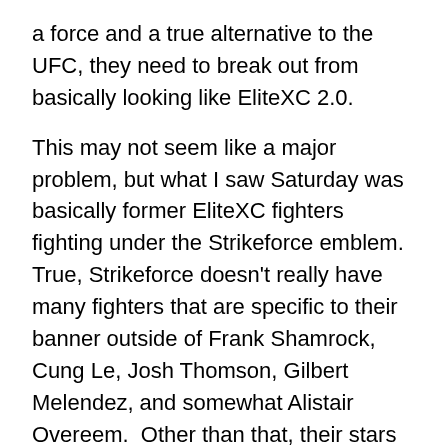a force and a true alternative to the UFC, they need to break out from basically looking like EliteXC 2.0.
This may not seem like a major problem, but what I saw Saturday was basically former EliteXC fighters fighting under the Strikeforce emblem.  True, Strikeforce doesn't really have many fighters that are specific to their banner outside of Frank Shamrock, Cung Le, Josh Thomson, Gilbert Melendez, and somewhat Alistair Overeem.  Other than that, their stars are few and far between so going into this it was to be expected that the more well known fighters would get shine.  However, I hope that Strikeforce has plans of incorporating more of their fighters into the Showtime & CBS shows.  Of course, Cung Le is too busy doing other things to commit to MMA and Overeem seems to be more interested in K-1 than